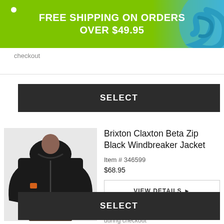FREE SHIPPING ON ORDERS OVER $49.95
checkout
[Figure (screenshot): SELECT button - dark gray/black button with white bold text]
[Figure (photo): Brixton Claxton Beta Zip Black Windbreaker Jacket product photo - person wearing black zip-up hooded windbreaker jacket]
Brixton Claxton Beta Zip Black Windbreaker Jacket
Item # 346599
$68.95
VIEW DETAILS ▶
Pick Up Today - Choose "Pick Up In Store" during checkout
SELECT